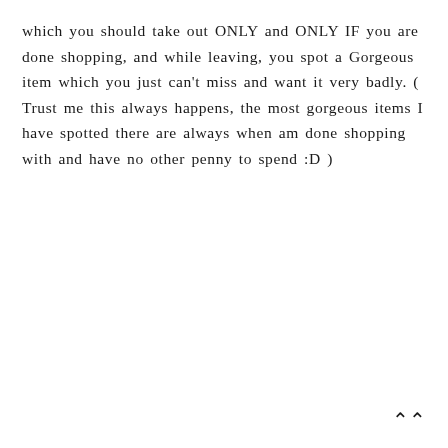which you should take out ONLY and ONLY IF you are done shopping, and while leaving, you spot a Gorgeous item which you just can't miss and want it very badly. ( Trust me this always happens, the most gorgeous items I have spotted there are always when am done shopping with and have no other penny to spend :D )